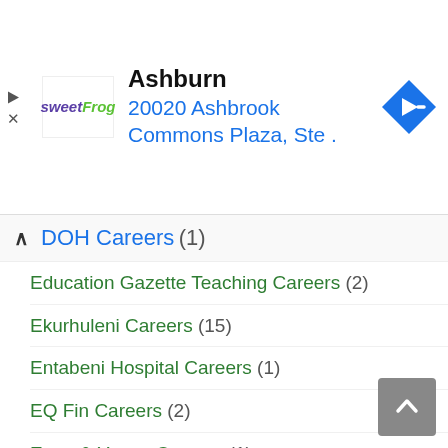[Figure (advertisement): sweetFrog ad banner: logo with text 'sweetFrog', title 'Ashburn', address '20020 Ashbrook Commons Plaza, Ste .', with blue navigation arrow diamond icon, and playback/close controls on left]
DOH Careers (1)
Education Gazette Teaching Careers (2)
Ekurhuleni Careers (15)
Entabeni Hospital Careers (1)
EQ Fin Careers (2)
Ernst & Young Careers (1)
Eskom Vacancies (3)
eThekwini Municipality Careers (23)
Excellerate Property Services Careers (1)
Executech Search and Selection Careers (1)
Executive Fit Vacancies (2)